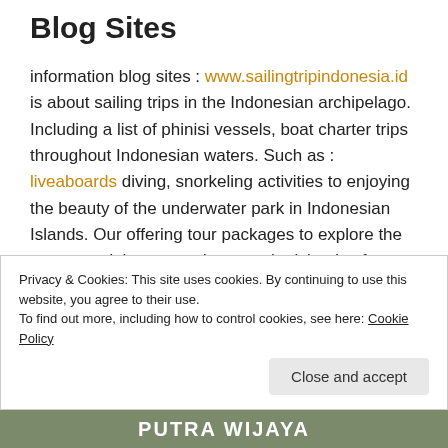Blog Sites
information blog sites : www.sailingtripindonesia.id is about sailing trips in the Indonesian archipelago. Including a list of phinisi vessels, boat charter trips throughout Indonesian waters. Such as : liveaboards diving, snorkeling activities to enjoying the beauty of the underwater park in Indonesian Islands. Our offering tour packages to explore the waters and the sea and across the islands of Indonesia by using yacths rental, sailing boat.
Privacy & Cookies: This site uses cookies. By continuing to use this website, you agree to their use.
To find out more, including how to control cookies, see here: Cookie Policy
[Figure (photo): Bottom strip showing partial image with text PUTRA WIJAYA]